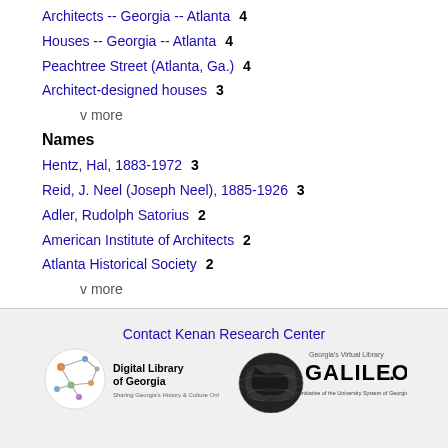Architects -- Georgia -- Atlanta  4
Houses -- Georgia -- Atlanta  4
Peachtree Street (Atlanta, Ga.)  4
Architect-designed houses  3
v more
Names
Hentz, Hal, 1883-1972  3
Reid, J. Neel (Joseph Neel), 1885-1926  3
Adler, Rudolph Satorius  2
American Institute of Architects  2
Atlanta Historical Society  2
v more
Contact Kenan Research Center
[Figure (logo): Digital Library of Georgia logo with network/globe icon and text 'Digital Library of Georgia - Sharing Georgia's History & Culture Online']
[Figure (logo): GALILEO Georgia's Virtual Library logo - An Initiative of the University System of Georgia]